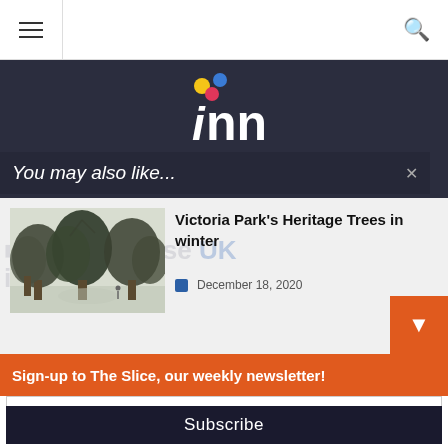[Figure (screenshot): Navigation bar with hamburger menu icon on left and search icon on right]
[Figure (logo): ICNN logo with colored dots on dark background]
You may also like...
Victoria Park's Heritage Trees in winter
December 18, 2020
Sign-up to The Slice, our weekly newsletter!
Your email address..
Subscribe